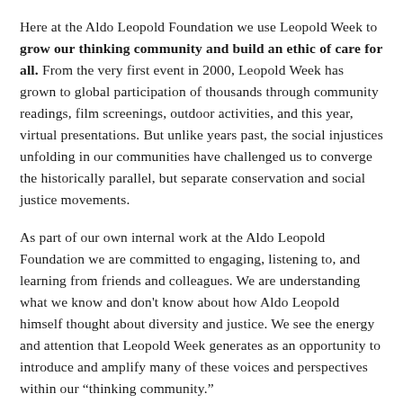Here at the Aldo Leopold Foundation we use Leopold Week to grow our thinking community and build an ethic of care for all. From the very first event in 2000, Leopold Week has grown to global participation of thousands through community readings, film screenings, outdoor activities, and this year, virtual presentations. But unlike years past, the social injustices unfolding in our communities have challenged us to converge the historically parallel, but separate conservation and social justice movements.
As part of our own internal work at the Aldo Leopold Foundation we are committed to engaging, listening to, and learning from friends and colleagues. We are understanding what we know and don't know about how Aldo Leopold himself thought about diversity and justice. We see the energy and attention that Leopold Week generates as an opportunity to introduce and amplify many of these voices and perspectives within our “thinking community.”